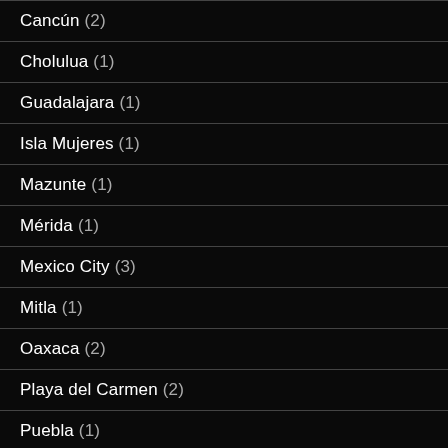Cancún (2)
Cholulua (1)
Guadalajara (1)
Isla Mujeres (1)
Mazunte (1)
Mérida (1)
Mexico City (3)
Mitla (1)
Oaxaca (2)
Playa del Carmen (2)
Puebla (1)
Río Lagartos (1)